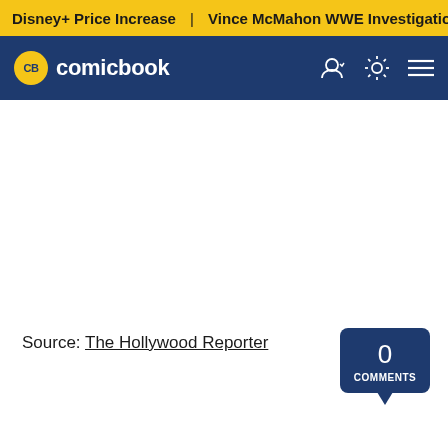Disney+ Price Increase | Vince McMahon WWE Investigation
[Figure (logo): ComicBook.com logo with yellow CB badge and white text on dark navy navigation bar with user icon, theme toggle, and hamburger menu icons]
Source: The Hollywood Reporter
0 COMMENTS